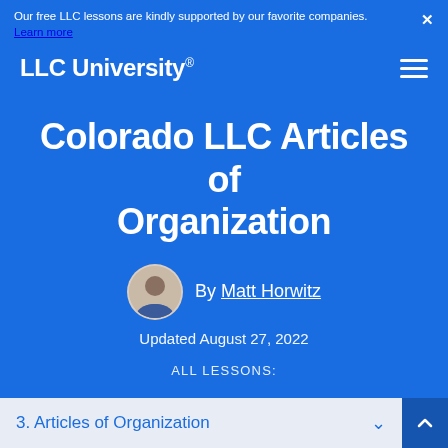Our free LLC lessons are kindly supported by our favorite companies. Learn more
LLC University®
Colorado LLC Articles of Organization
By Matt Horwitz
Updated August 27, 2022
ALL LESSONS:
3. Articles of Organization